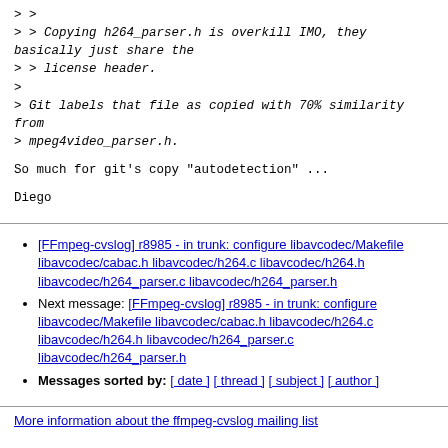> >
> > Copying h264_parser.h is overkill IMO, they basically just share the
> > license header.
>
> Git labels that file as copied with 70% similarity from
> mpeg4video_parser.h.
So much for git's copy "autodetection" ...
Diego
Previous message: [FFmpeg-cvslog] r8985 - in trunk: configure libavcodec/Makefile libavcodec/cabac.h libavcodec/h264.c libavcodec/h264.h libavcodec/h264_parser.c libavcodec/h264_parser.h
Next message: [FFmpeg-cvslog] r8985 - in trunk: configure libavcodec/Makefile libavcodec/cabac.h libavcodec/h264.c libavcodec/h264.h libavcodec/h264_parser.c libavcodec/h264_parser.h
Messages sorted by: [ date ] [ thread ] [ subject ] [ author ]
More information about the ffmpeg-cvslog mailing list